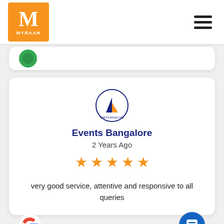[Figure (logo): Myraah logo: orange square with white M and MYRAAH text]
[Figure (logo): Events Bangalore circular logo with blue L/arrow shape and orange triangle]
Events Bangalore
2 Years Ago
[Figure (other): 5 orange star rating icons]
very good service, attentive and responsive to all queries
[Figure (logo): Google G logo]
[Figure (other): Blue circular chat/message button]